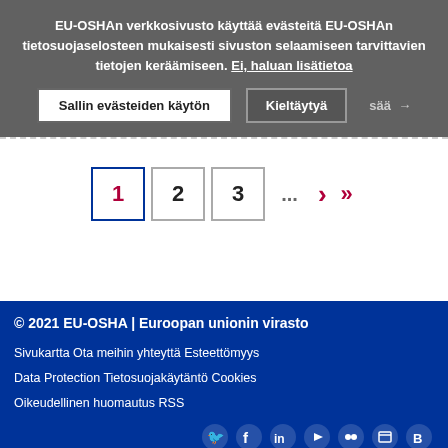EU-OSHAn verkkosivusto käyttää evästeitä EU-OSHAn tietosuojaselosteen mukaisesti sivuston selaamiseen tarvittavien tietojen keräämiseen. Ei, haluan lisätietoa
Sallin evästeiden käytön   Kieltäytyä
1   2   3   ...   >   >>
© 2021 EU-OSHA | Euroopan unionin virasto
Sivukartta   Ota meihin yhteyttä   Esteettömyys
Data Protection   Tietosuojakäytäntö   Cookies
Oikeudellinen huomautus   RSS